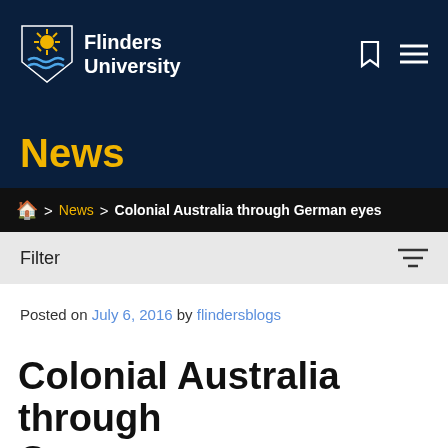[Figure (logo): Flinders University logo with shield icon and university name]
News
Home > News > Colonial Australia through German eyes
Filter
Posted on July 6, 2016 by flindersblogs
Colonial Australia through German eyes